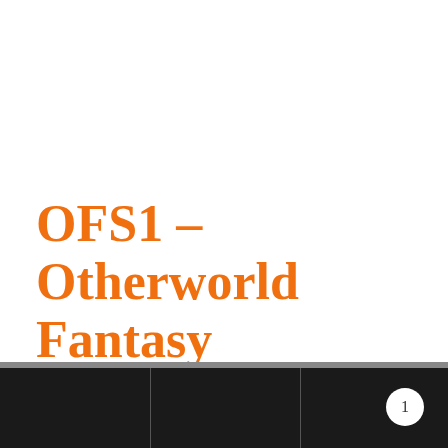OFS1 – Otherworld Fantasy Skirmish – Rulebook
1